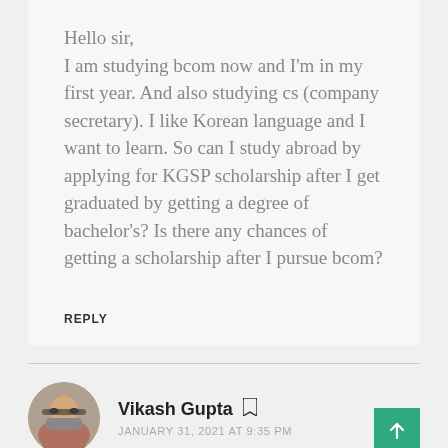Hello sir,
I am studying bcom now and I'm in my first year. And also studying cs (company secretary). I like Korean language and I want to learn. So can I study abroad by applying for KGSP scholarship after I get graduated by getting a degree of bachelor's? Is there any chances of getting a scholarship after I pursue bcom?
REPLY
Vikash Gupta
JANUARY 31, 2021 AT 9:35 PM
Do you want to learn Korean from Korea?